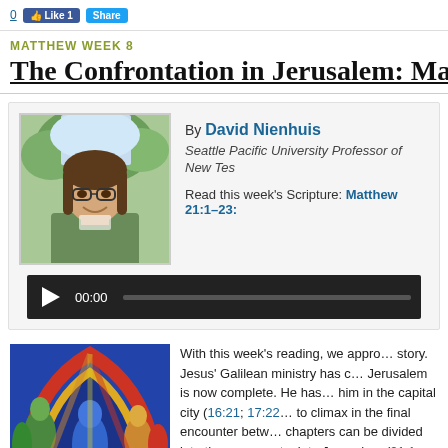social share buttons area
MATTHEW WEEK 8
The Confrontation in Jerusalem: Matthew
[Figure (photo): Headshot of David Nienhuis, a man with long brown hair and glasses, smiling outdoors]
By David Nienhuis
Seattle Pacific University Professor of New Te…
Read this week's Scripture: Matthew 21:1–23:
[Figure (screenshot): Audio player with play button showing 00:00]
[Figure (illustration): Colorful expressionist painting of figures in blue, red, yellow and green]
With this week's reading, we appro… story. Jesus' Galilean ministry has c… Jerusalem is now complete. He has… him in the capital city (16:21; 17:22… to climax in the final encounter betw… chapters can be divided into three m… entry into Jerusalem (21:1–22), his… (21:23–22:46), and his extended de…